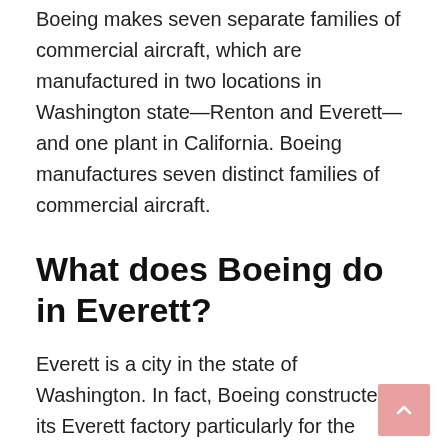Boeing makes seven separate families of commercial aircraft, which are manufactured in two locations in Washington state—Renton and Everett—and one plant in California. Boeing manufactures seven distinct families of commercial aircraft.
What does Boeing do in Everett?
Everett is a city in the state of Washington. In fact, Boeing constructed its Everett factory particularly for the purpose of producing the jumbo jet. The main assembly building, which has expanded to include 472 million cubic feet (13.36 million cubic meters) of area, has earned the distinction of being the world's